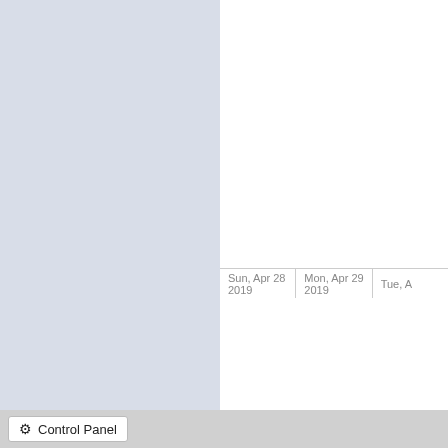[Figure (screenshot): Calendar application interface showing a weekly view with dates Sun Apr 28 2019, Mon Apr 29 2019, and Tue Apr (truncated). Left sidebar is light blue-gray. Bottom footer shows a Control Panel button.]
Sun, Apr 28 2019
Mon, Apr 29 2019
Tue, A
Control Panel